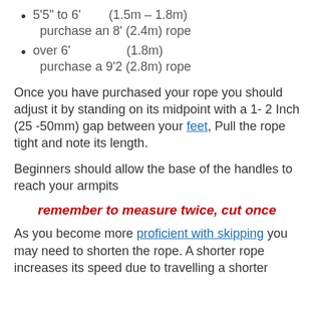5'5" to 6'    (1.5m – 1.8m) purchase an 8' (2.4m) rope
over 6'        (1.8m) purchase a 9'2 (2.8m) rope
Once you have purchased your rope you should adjust it by standing on its midpoint with a 1- 2 Inch (25 -50mm) gap between your feet, Pull the rope tight and note its length.
Beginners should allow the base of the handles to reach your armpits
remember to measure twice, cut once
As you become more proficient with skipping you may need to shorten the rope. A shorter rope increases its speed due to travelling a shorter